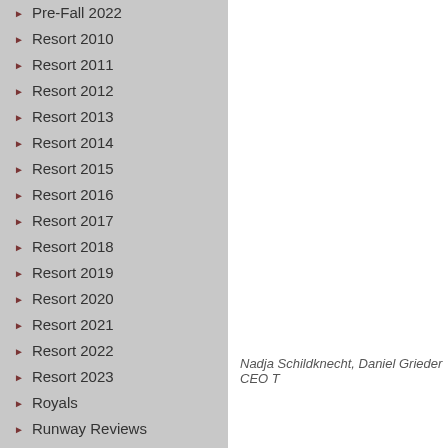Pre-Fall 2022
Resort 2010
Resort 2011
Resort 2012
Resort 2013
Resort 2014
Resort 2015
Resort 2016
Resort 2017
Resort 2018
Resort 2019
Resort 2020
Resort 2021
Resort 2022
Resort 2023
Royals
Runway Reviews
Sandra`s Closet
Shoes
Shop the Closet
Shops
Skirts
Nadja Schildknecht, Daniel Grieder CEO T